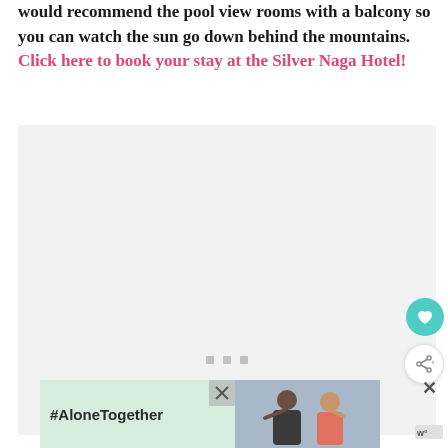would recommend the pool view rooms with a balcony so you can watch the sun go down behind the mountains. Click here to book your stay at the Silver Naga Hotel!
[Figure (photo): Large image placeholder (light gray rectangle) with three small gray squares centered near the bottom as a loading indicator or image carousel dots]
[Figure (infographic): Advertisement banner featuring '#AloneTogether' text on a green background on the left, and a photo of two people (man and woman) waving on the right, with a close button]